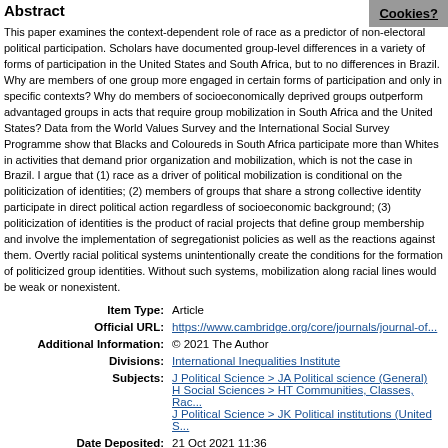Abstract
This paper examines the context-dependent role of race as a predictor of non-electoral political participation. Scholars have documented group-level differences in a variety of forms of participation in the United States and South Africa, but to no differences in Brazil. Why are members of one group more engaged in certain forms of participation and only in specific contexts? Why do members of socioeconomically deprived groups outperform advantaged groups in acts that require group mobilization in South Africa and the United States? Data from the World Values Survey and the International Social Survey Programme show that Blacks and Coloureds in South Africa participate more than Whites in activities that demand prior organization and mobilization, which is not the case in Brazil. I argue that (1) race as a driver of political mobilization is conditional on the politicization of identities; (2) members of groups that share a strong collective identity participate in direct political action regardless of socioeconomic background; (3) politicization of identities is the product of racial projects that define group membership and involve the implementation of segregationist policies as well as the reactions against them. Overtly racial political systems unintentionally create the conditions for the formation of politicized group identities. Without such systems, mobilization along racial lines would be weak or nonexistent.
| Field | Value |
| --- | --- |
| Item Type: | Article |
| Official URL: | https://www.cambridge.org/core/journals/journal-of... |
| Additional Information: | © 2021 The Author |
| Divisions: | International Inequalities Institute |
| Subjects: | J Political Science > JA Political science (General)
H Social Sciences > HT Communities, Classes, Rac...
J Political Science > JK Political institutions (United S... |
| Date Deposited: | 21 Oct 2021 11:36 |
| Last Modified: | 17 Jun 2022 12:24 |
| URI: | http://eprints.lse.ac.uk/id/eprint/112477 |